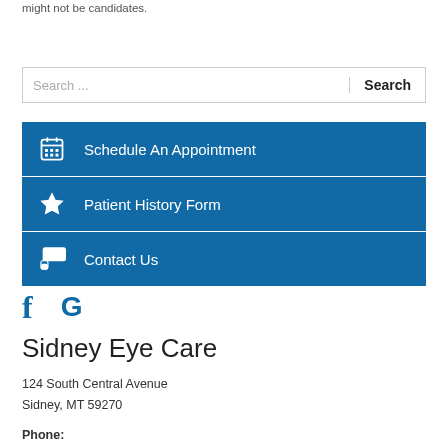might not be candidates.
Search ...
Schedule An Appointment
Patient History Form
Contact Us
[Figure (logo): Facebook and Google social media icons in blue]
Sidney Eye Care
124 South Central Avenue
Sidney, MT 59270
Phone: